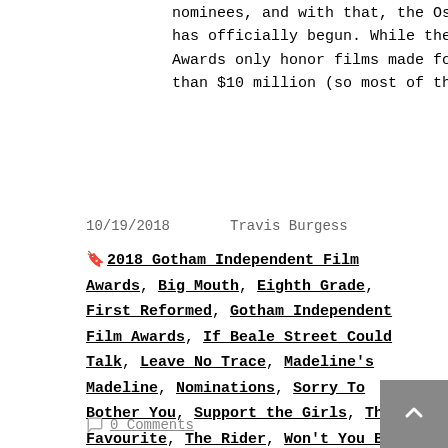nominees, and with that, the Oscar race has officially begun. While the Gotham Awards only honor films made for less than $10 million (so most of the big...
10/19/2018    Travis Burgess
2018 Gotham Independent Film Awards, Big Mouth, Eighth Grade, First Reformed, Gotham Independent Film Awards, If Beale Street Could Talk, Leave No Trace, Madeline's Madeline, Nominations, Sorry To Bother You, Support the Girls, The Favourite, The Rider, Won't You Be My Neighbor?
0 Comments